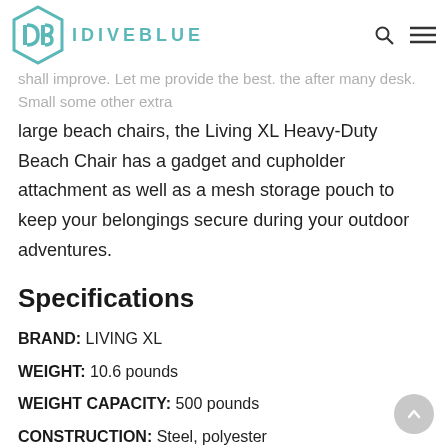IDIVEBLUE
shall improve. Let me provide the best. the after many desk. Small some other extra large beach chairs, the Living XL Heavy-Duty Beach Chair has a gadget and cupholder attachment as well as a mesh storage pouch to keep your belongings secure during your outdoor adventures.
Specifications
BRAND: LIVING XL
WEIGHT: 10.6 pounds
WEIGHT CAPACITY: 500 pounds
CONSTRUCTION: Steel, polyester